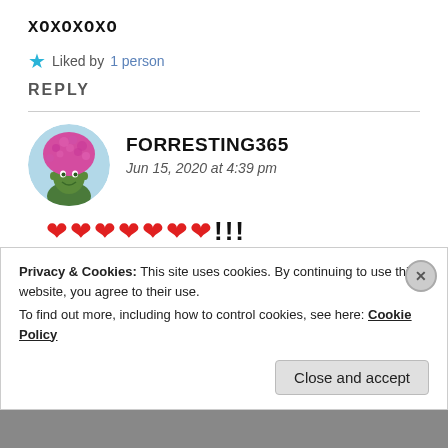XOXOXOXO
★ Liked by 1 person
REPLY
[Figure (photo): Circular avatar portrait of a person with pink afro hair and green face, colorful artistic illustration]
FORRESTING365
Jun 15, 2020 at 4:39 pm
❤❤❤❤❤❤❤!!!
Privacy & Cookies: This site uses cookies. By continuing to use this website, you agree to their use.
To find out more, including how to control cookies, see here: Cookie Policy
Close and accept